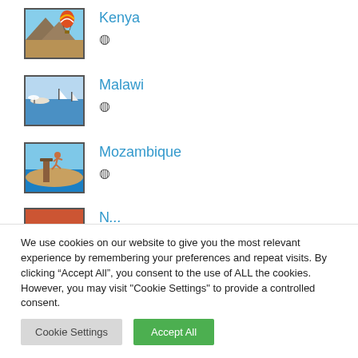Kenya
Malawi
Mozambique
[Figure (screenshot): Partial list item (Namibia) cut off at bottom]
We use cookies on our website to give you the most relevant experience by remembering your preferences and repeat visits. By clicking “Accept All”, you consent to the use of ALL the cookies. However, you may visit "Cookie Settings" to provide a controlled consent.